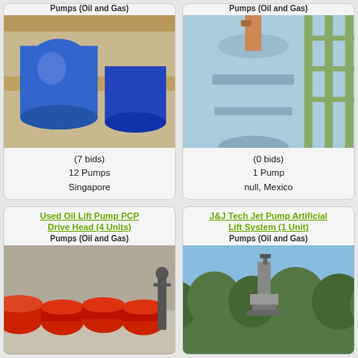[Figure (photo): Industrial pumps in wooden crate/frame, blue pump equipment, Singapore]
(7 bids)
12 Pumps
Singapore
[Figure (photo): Large blue industrial vessel/separator on tower structure in industrial facility, Mexico]
(0 bids)
1 Pump
null, Mexico
Pumps (Oil and Gas)
Pumps (Oil and Gas)
Used Oil Lift Pump PCP Drive Head (4 Units)
Pumps (Oil and Gas)
[Figure (photo): Red pump equipment/drive heads on ground in warehouse/outdoor area]
J&J Tech Jet Pump Artificial Lift System (1 Unit)
Pumps (Oil and Gas)
[Figure (photo): Pump/lift system equipment in outdoor wooded/green hillside setting]